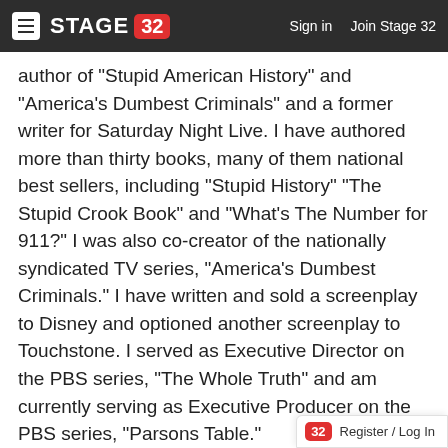Stage 32 — Sign in   Join Stage 32
author of "Stupid American History" and “America’s Dumbest Criminals” and a former writer for Saturday Night Live. I have authored more than thirty books, many of them national best sellers, including “Stupid History” “The Stupid Crook Book” and “What’s The Number for 911?” I was also co-creator of the nationally syndicated TV series, “America’s Dumbest Criminals.” I have written and sold a screenplay to Disney and optioned another screenplay to Touchstone. I served as Executive Director on the PBS series, “The Whole Truth” and am currently serving as Executive Producer on the PBS series, “Parsons Table.” I’ve created advertising campaigns
Register / Log In